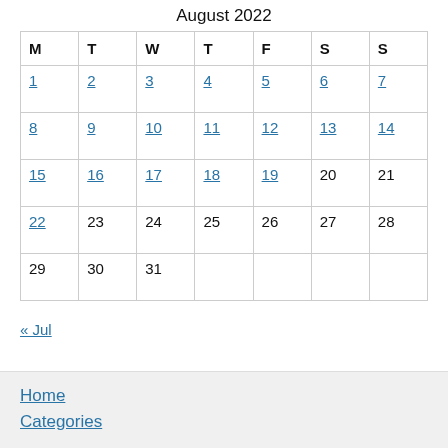August 2022
| M | T | W | T | F | S | S |
| --- | --- | --- | --- | --- | --- | --- |
| 1 | 2 | 3 | 4 | 5 | 6 | 7 |
| 8 | 9 | 10 | 11 | 12 | 13 | 14 |
| 15 | 16 | 17 | 18 | 19 | 20 | 21 |
| 22 | 23 | 24 | 25 | 26 | 27 | 28 |
| 29 | 30 | 31 |  |  |  |  |
« Jul
Home
Categories